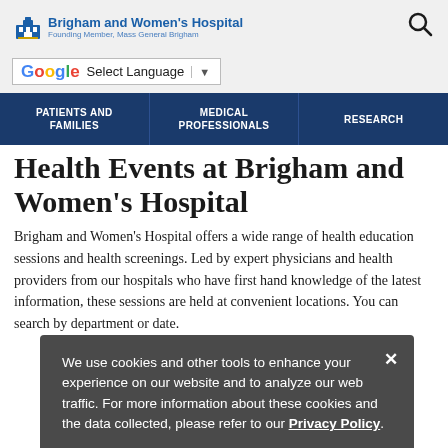Brigham and Women's Hospital — Founding Member, Mass General Brigham
[Figure (logo): Brigham and Women's Hospital logo with building icon and text 'Brigham and Women's Hospital, Founding Member, Mass General Brigham']
Select Language
PATIENTS AND FAMILIES | MEDICAL PROFESSIONALS | RESEARCH
Health Events at Brigham and Women's Hospital
Brigham and Women's Hospital offers a wide range of health education sessions and health screenings. Led by expert physicians and health providers from our hospitals who have first hand knowledge of the latest information, these sessions are held at convenient locations. You can search by department or date.
We use cookies and other tools to enhance your experience on our website and to analyze our web traffic. For more information about these cookies and the data collected, please refer to our Privacy Policy.